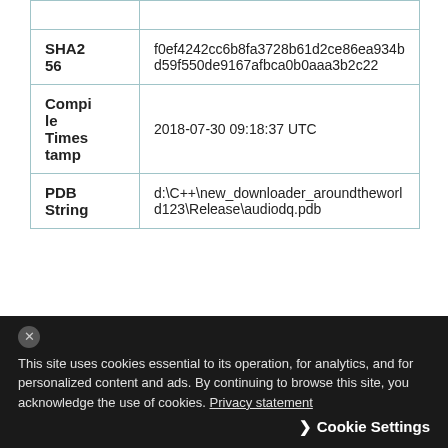|  |  |
| --- | --- |
| SHA2 56 | f0ef4242cc6b8fa3728b61d2ce86ea934b d59f550de9167afbca0b0aaa3b2c22 |
| Compi le Times tamp | 2018-07-30 09:18:37 UTC |
| PDB String | d:\C++\new_downloader_aroundtheworld123\Release\audiodq.pdb |
Table 4 ArtraDownloader Variant 3 Sample
Upon execution, the malware begins by decoding a series